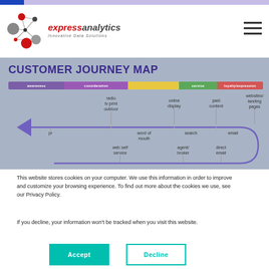[Figure (logo): Express Analytics logo with network node graphic and text 'expressanalytics Innovative Data Solutions']
[Figure (infographic): Customer Journey Map diagram showing stages: awareness, consideration, service, loyalty/expression with channel labels: radio/tv/print/outdoor, online display, paid content, websites/landing pages, pr, word of mouth, search, email, web self service, agent/broker, direct email]
This website stores cookies on your computer. We use this information in order to improve and customize your browsing experience. To find out more about the cookies we use, see our Privacy Policy.
If you decline, your information won't be tracked when you visit this website.